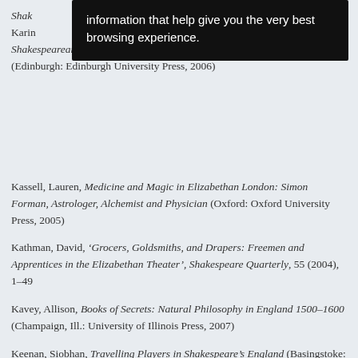Shakespearean and Renaissance Drama (Edinburgh: Edinburgh University Press, 2006)
Kassell, Lauren, Medicine and Magic in Elizabethan London: Simon Forman, Astrologer, Alchemist and Physician (Oxford: Oxford University Press, 2005)
Kathman, David, ‘Grocers, Goldsmiths, and Drapers: Freemen and Apprentices in the Elizabethan Theater’, Shakespeare Quarterly, 55 (2004), 1–49
Kavey, Allison, Books of Secrets: Natural Philosophy in England 1500–1600 (Champaign, Ill.: University of Illinois Press, 2007)
Keenan, Siobhan, Travelling Players in Shakespeare’s England (Basingstoke: Palgrave Macmillan, 2002)